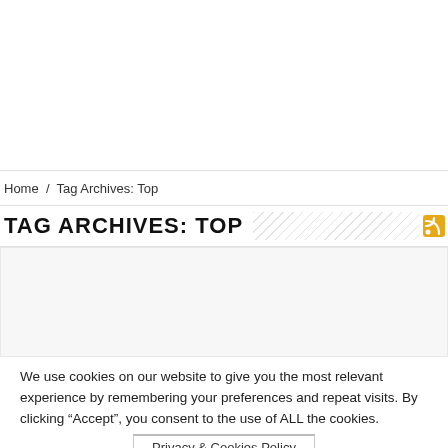Home / Tag Archives: Top
TAG ARCHIVES: TOP
We use cookies on our website to give you the most relevant experience by remembering your preferences and repeat visits. By clicking “Accept”, you consent to the use of ALL the cookies.
Privacy & Cookies Policy